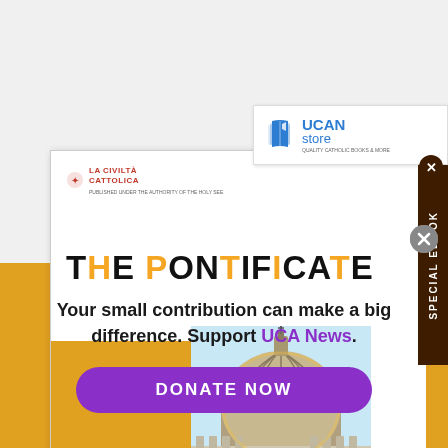[Figure (screenshot): UCA Store logo with book icon and blue text reading 'UCAN store']
[Figure (illustration): Book cover for 'The Pontificate' from La Civilta Cattolica, featuring the dome of St. Peter's Basilica, with eBook badge, gold accents, and SPECIAL EBOOK sidebar tab in dark brown]
Your small contribution can make a big difference. Support UCA News.
DONATE NOW